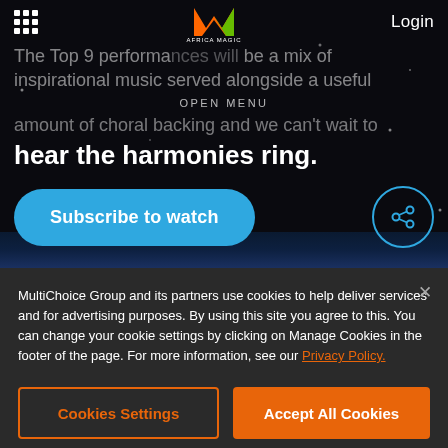[Figure (screenshot): Africa Magic website screenshot showing navigation bar with grid icon, Africa Magic logo, and Login button]
The Top 9 performances will be a mix of inspirational music served alongside a useful amount of choral backing and we can't wait to hear the harmonies ring.
OPEN MENU
[Figure (other): Subscribe to watch button (blue rounded) and share icon button (blue circle outline)]
MultiChoice Group and its partners use cookies to help deliver services and for advertising purposes. By using this site you agree to this. You can change your cookie settings by clicking on Manage Cookies in the footer of the page. For more information, see our Privacy Policy.
Cookies Settings
Accept All Cookies